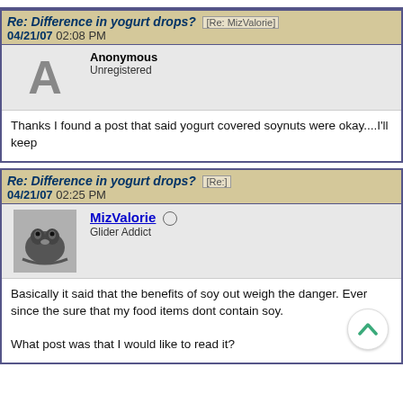Re: Difference in yogurt drops? [Re: MizValorie] 04/21/07 02:08 PM
Anonymous
Unregistered
Thanks I found a post that said yogurt covered soynuts were okay....I'll keep
Re: Difference in yogurt drops? [Re:] 04/21/07 02:25 PM
MizValorie
Glider Addict
Basically it said that the benefits of soy out weigh the danger. Ever since the sure that my food items dont contain soy.

What post was that I would like to read it?